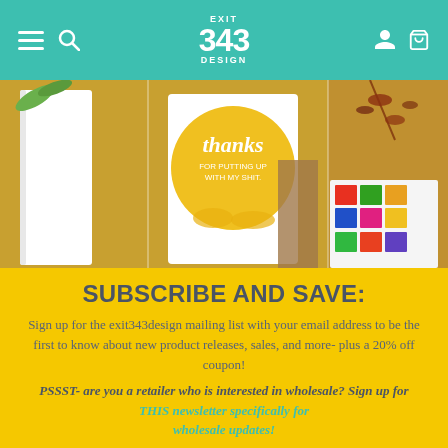Exit 343 Design – navigation header with hamburger menu, search, logo, user, and cart icons
[Figure (photo): Hero banner photo showing greeting cards on a yellow/golden background. Center card has a yellow circle with script text 'thanks FOR PUTTING UP WITH MY SHIT.' with floral design. Left side shows a white notebook/card. Right side shows colorful sticker sheets and dried floral arrangement.]
SUBSCRIBE AND SAVE:
Sign up for the exit343design mailing list with your email address to be the first to know about new product releases, sales, and more- plus a 20% off coupon!
PSSST- are you a retailer who is interested in wholesale? Sign up for THIS newsletter specifically for wholesale updates!